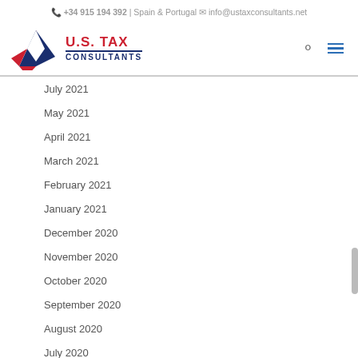+34 915 194 392 | Spain & Portugal
info@ustaxconsultants.net
[Figure (logo): U.S. Tax Consultants logo with red and navy star graphic and text]
July 2021
May 2021
April 2021
March 2021
February 2021
January 2021
December 2020
November 2020
October 2020
September 2020
August 2020
July 2020
June 2020